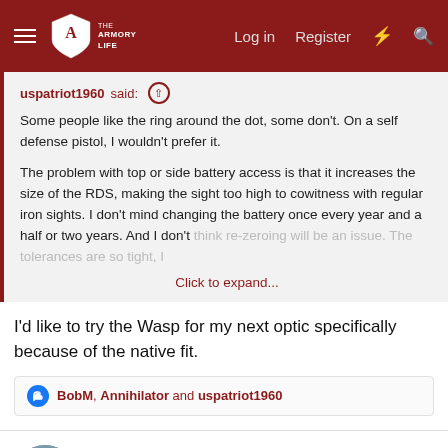The Armory Life — Log in   Register
uspatriot1960 said:
Some people like the ring around the dot, some don't. On a self defense pistol, I wouldn't prefer it.

The problem with top or side battery access is that it increases the size of the RDS, making the sight too high to cowitness with regular iron sights. I don't mind changing the battery once every year and a half or two years. And I don't think re-zeroing will be an issue. The tolerances are so tight, I
Click to expand...
I'd like to try the Wasp for my next optic specifically because of the native fit.
BobM, Annihilator and uspatriot1960
HayesGreener
Professional